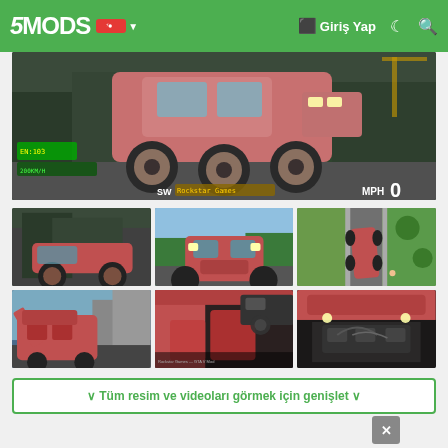5MODS — Giriş Yap
[Figure (screenshot): Main large screenshot of a red/pink 6-wheel lifted truck mod in GTA V, airborne in an urban setting. HUD visible with SW compass, speed MPH 0.]
[Figure (screenshot): Thumbnail 1: Red lifted truck in GTA V city environment, side-rear angle]
[Figure (screenshot): Thumbnail 2: Red truck front-facing on road with trees and sky]
[Figure (screenshot): Thumbnail 3: Red truck aerial/top-down view on green grass area]
[Figure (screenshot): Thumbnail 4: Interior view of red truck with doors open, city background]
[Figure (screenshot): Thumbnail 5: Interior close-up of red truck cab]
[Figure (screenshot): Thumbnail 6: Engine bay of red truck with hood open]
∨ Tüm resim ve videoları görmek için genişlet ∨